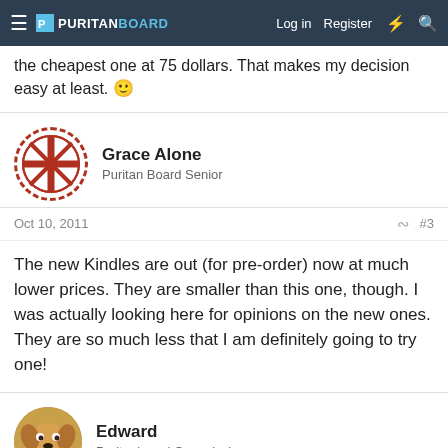PURITANBOARD — Log in | Register
the cheapest one at 75 dollars. That makes my decision easy at least. 🙂
Grace Alone
Puritan Board Senior
Oct 10, 2011  #3
The new Kindles are out (for pre-order) now at much lower prices. They are smaller than this one, though. I was actually looking here for opinions on the new ones. They are so much less that I am definitely going to try one!
Edward
Puritanboard Commissioner
Oct 11, 2011  #4